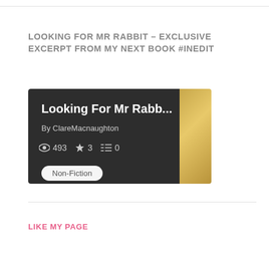LOOKING FOR MR RABBIT – EXCLUSIVE EXCERPT FROM MY NEXT BOOK #INEDIT
[Figure (screenshot): A book listing card with dark background showing 'Looking For Mr Rabb...' by ClareMacnaughton with 493 views, 3 stars, 0 comments, and a Non-Fiction tag. Gold gradient panel on the right side.]
LIKE MY PAGE